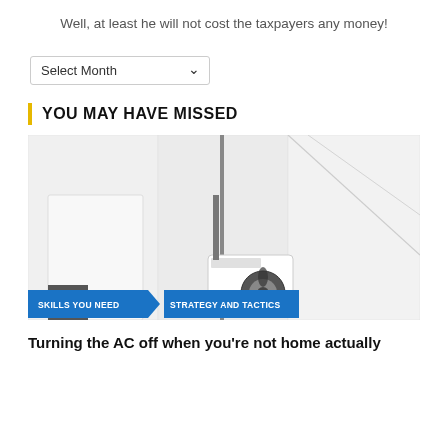Well, at least he will not cost the taxpayers any money!
[Figure (screenshot): A dropdown selector labeled 'Select Month' with a chevron arrow on the right side]
YOU MAY HAVE MISSED
[Figure (photo): A black and white photo of an air conditioning unit and equipment against a white wall, with two blue category badges at the bottom reading 'SKILLS YOU NEED' and 'STRATEGY AND TACTICS']
Turning the AC off when you're not home actually